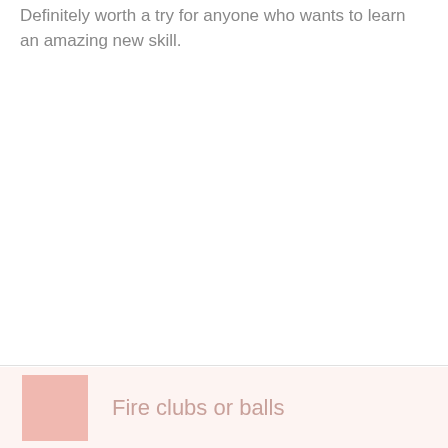Definitely worth a try for anyone who wants to learn an amazing new skill.
Fire clubs or balls